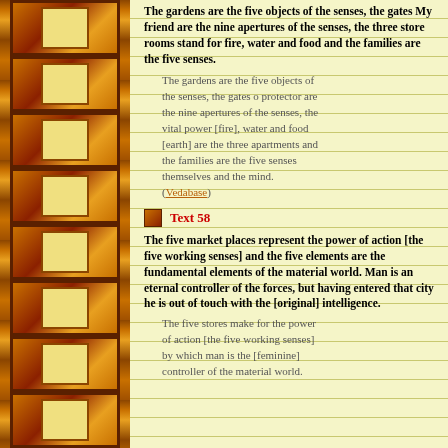The gardens are the five objects of the senses, the gates My friend are the nine apertures of the senses, the three store rooms stand for fire, water and food and the families are the five senses.
The gardens are the five objects of the senses, the gates o protector are the nine apertures of the senses, the vital power [fire], water and food [earth] are the three apartments and the families are the five senses themselves and the mind. (Vedabase)
Text 58
The five market places represent the power of action [the five working senses] and the five elements are the fundamental elements of the material world. Man is an eternal controller of the forces, but having entered that city he is out of touch with the [original] intelligence.
The five stores make for the power of action [the five working senses] by which man is the [feminine] controller of the material world.